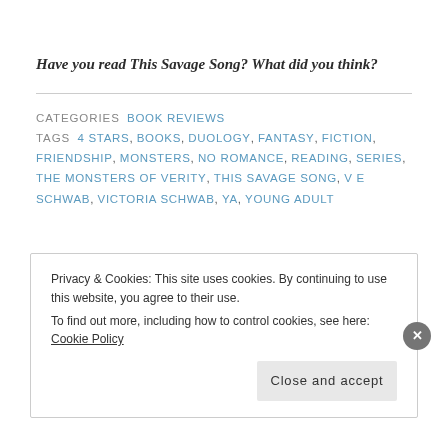Have you read This Savage Song? What did you think?
CATEGORIES  BOOK REVIEWS
TAGS  4 STARS, BOOKS, DUOLOGY, FANTASY, FICTION, FRIENDSHIP, MONSTERS, NO ROMANCE, READING, SERIES, THE MONSTERS OF VERITY, THIS SAVAGE SONG, V E SCHWAB, VICTORIA SCHWAB, YA, YOUNG ADULT
Privacy & Cookies: This site uses cookies. By continuing to use this website, you agree to their use.
To find out more, including how to control cookies, see here: Cookie Policy
Close and accept